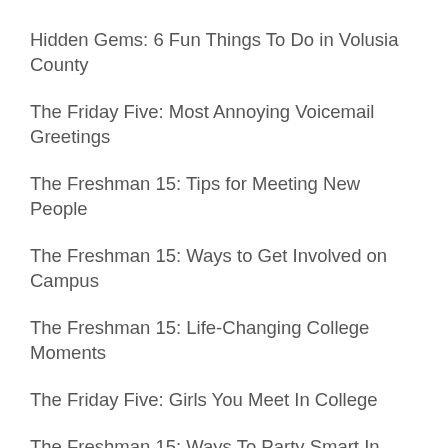Hidden Gems: 6 Fun Things To Do in Volusia County
The Friday Five: Most Annoying Voicemail Greetings
The Freshman 15: Tips for Meeting New People
The Freshman 15: Ways to Get Involved on Campus
The Freshman 15: Life-Changing College Moments
The Friday Five: Girls You Meet In College
The Freshman 15: Ways To Party Smart In College
The Weekend Five: Tips For Writing Really Bad Fanfiction